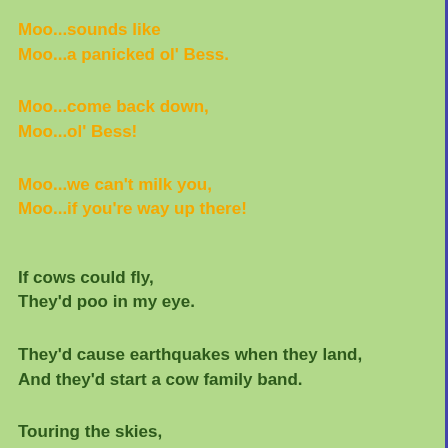Moo...sounds like
Moo...a panicked ol' Bess.
Moo...come back down,
Moo...ol' Bess!
Moo...we can't milk you,
Moo...if you're way up there!
If cows could fly,
They'd poo in my eye.
They'd cause earthquakes when they land,
And they'd start a cow family band.
Touring the skies,
They'd sing about flies.
And when the day is done,
They'd eat onions.